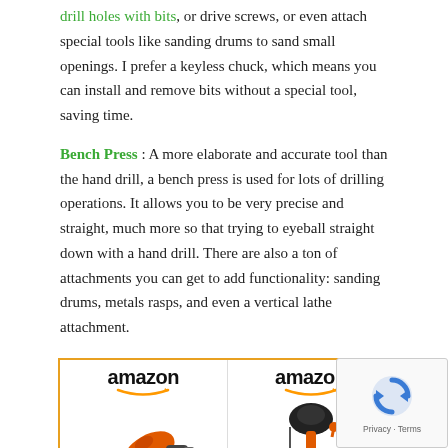drill holes with bits, or drive screws, or even attach special tools like sanding drums to sand small openings. I prefer a keyless chuck, which means you can install and remove bits without a special tool, saving time.
Bench Press : A more elaborate and accurate tool than the hand drill, a bench press is used for lots of drilling operations. It allows you to be very precise and straight, much more so that trying to eyeball straight down with a hand drill. There are also a ton of attachments you can get to add functionality: sanding drums, metals rasps, and even a vertical lathe attachment.
[Figure (other): Amazon product widget showing two products side by side. Left: BLACK+DECKER Corded Drill, $25.79 with Prime badge. Right: WEN 4210T 10-Inch Cast Iron bench press drill. Both shown with Amazon logo and product images on orange-bordered card.]
[Figure (other): reCAPTCHA privacy widget in bottom-right corner showing reCAPTCHA logo with text 'Privacy - Terms']